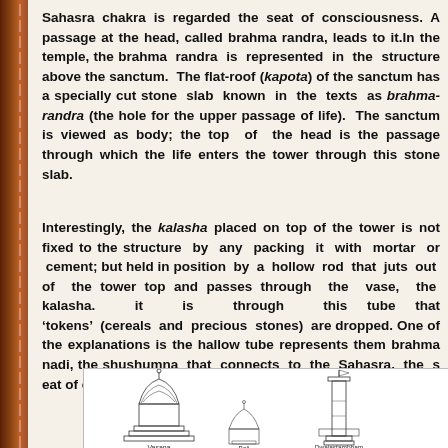Sahasra chakra is regarded the seat of consciousness. A passage at the head, called brahma randra, leads to it.In the temple, the brahma randra is represented in the structure above the sanctum. The flat-roof (kapota) of the sanctum has a specially cut stone slab known in the texts as brahma-randra (the hole for the upper passage of life). The sanctum is viewed as body; the top of the head is the passage through which the life enters the tower through this stone slab.
Interestingly, the kalasha placed on top of the tower is not fixed to the structure by any packing it with mortar or cement; but held in position by a hollow rod that juts out of the tower top and passes through the vase, the kalasha. it is through this tube that 'tokens' (cereals and precious stones) are dropped. One of the explanations is the hallow tube represents the brahma nadi, the shushumna that connects to the Sahasra, the seat of consciousness, the Brahma randra.
[Figure (illustration): Architectural diagram showing temple structures including Vasana and Dwajastambham elements with line drawings of temple towers and components]